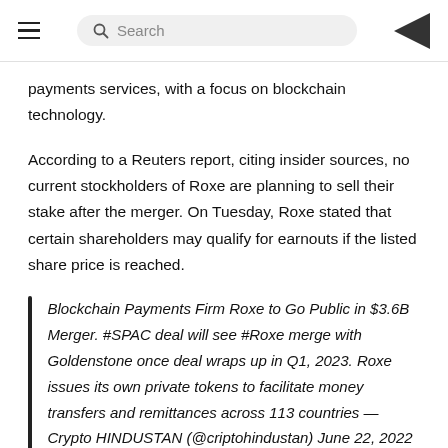Search
payments services, with a focus on blockchain technology.
According to a Reuters report, citing insider sources, no current stockholders of Roxe are planning to sell their stake after the merger. On Tuesday, Roxe stated that certain shareholders may qualify for earnouts if the listed share price is reached.
Blockchain Payments Firm Roxe to Go Public in $3.6B Merger. #SPAC deal will see #Roxe merge with Goldenstone once deal wraps up in Q1, 2023. Roxe issues its own private tokens to facilitate money transfers and remittances across 113 countries — Crypto HINDUSTAN (@criptohindustan) June 22, 2022